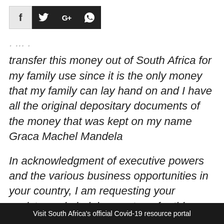[Figure (other): Social media share buttons: Facebook (f), Twitter (bird), Google+ (G+), WhatsApp (phone icon) — dark and light square icon buttons]
transfer this money out of South Africa for my family use since it is the only money that my family can lay hand on and I have all the original depositary documents of the money that was kept on my name Graca Machel Mandela
In acknowledgment of executive powers and the various business opportunities in your country, I am requesting your assistance in helping me transfer this money into your company/personal or
Visit South Africa's official Covid-19 resource portal